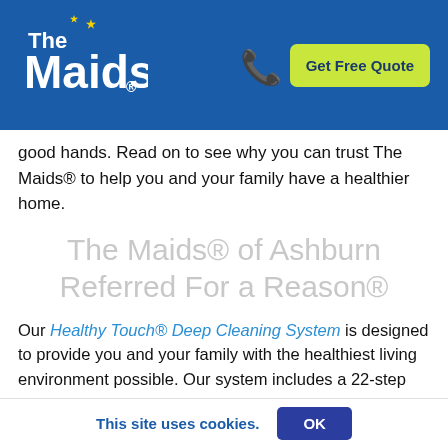The Maids — Get Free Quote
good hands. Read on to see why you can trust The Maids® to help you and your family have a healthier home.
The Maids® of Ashburn Referred For a Reason®
Our Healthy Touch® Deep Cleaning System is designed to provide you and your family with the healthiest living environment possible. Our system includes a 22-step plan of action that combines healthy and thorough cleaning for the best house cleaning in Ashburn. We systematically clean your kitchen, bathrooms and other rooms with attention to detail that you won't find anywhere else. We even disinfect frequently touched areas like switchplates and cabinet pulls. It seems unfair to other cleaning services in Ashburn, but
This site uses cookies.